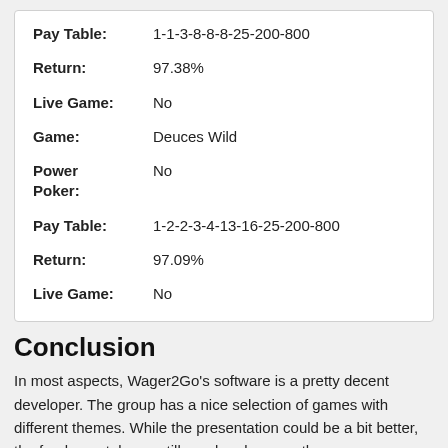| Field | Value |
| --- | --- |
| Pay Table: | 1-1-3-8-8-8-25-200-800 |
| Return: | 97.38% |
| Live Game: | No |
| Game: | Deuces Wild |
| Power Poker: | No |
| Pay Table: | 1-2-2-3-4-13-16-25-200-800 |
| Return: | 97.09% |
| Live Game: | No |
Conclusion
In most aspects, Wager2Go's software is a pretty decent developer. The group has a nice selection of games with different themes. While the presentation could be a bit better, the fundamentals are still good and are worth your